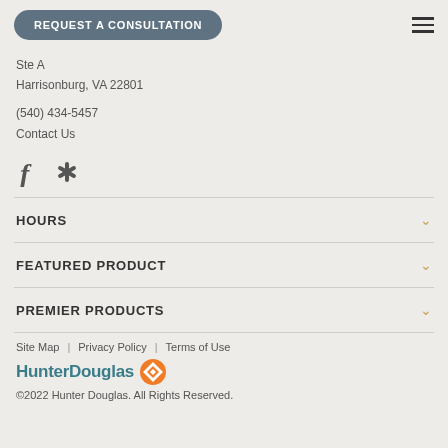REQUEST A CONSULTATION
Ste A
Harrisonburg, VA 22801
(540) 434-5457
Contact Us
[Figure (other): Facebook and Yelp social media icons]
HOURS
FEATURED PRODUCT
PREMIER PRODUCTS
Site Map  |  Privacy Policy  |  Terms of Use
HunterDouglas
©2022 Hunter Douglas. All Rights Reserved.